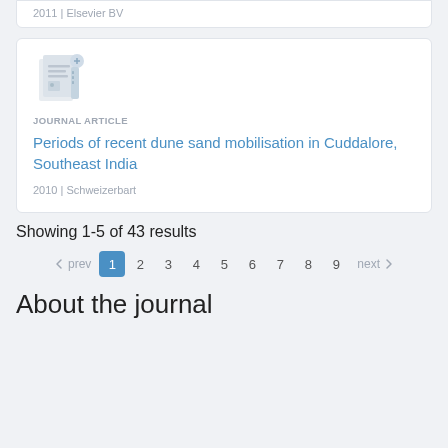2011 | Elsevier BV
[Figure (illustration): Placeholder thumbnail icon for journal article, showing a stylized document/article with image and text lines, in light gray and blue tones]
JOURNAL ARTICLE
Periods of recent dune sand mobilisation in Cuddalore, Southeast India
2010 | Schweizerbart
Showing 1-5 of 43 results
← prev  1  2  3  4  5  6  7  8  9  next →
About the journal